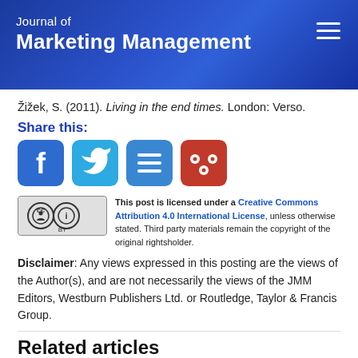Journal of Marketing Management
Žižek, S. (2011). Living in the end times. London: Verso.
Share this:
[Figure (other): Social sharing icons: Facebook, Twitter, list/menu icon, Mendeley]
[Figure (logo): Creative Commons Attribution (CC BY) license badge]
This post is licensed under a Creative Commons Attribution 4.0 International License, unless otherwise stated. Third party materials remain the copyright of the original rightsholder.
Disclaimer: Any views expressed in this posting are the views of the Author(s), and are not necessarily the views of the JMM Editors, Westburn Publishers Ltd. or Routledge, Taylor & Francis Group.
Related articles